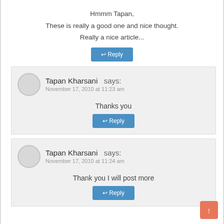Hmmm Tapan,
These is really a good one and nice thought.
Really a nice article...
↩ Reply
Tapan Kharsani says:
November 17, 2010 at 11:23 am
Thanks you
↩ Reply
Tapan Kharsani says:
November 17, 2010 at 11:24 am
Thank you I will post more
↩ Reply